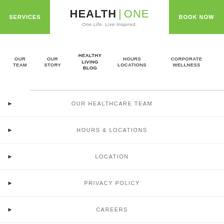[Figure (logo): Health One logo with tagline 'One Life. Live Inspired.']
SERVICES
BOOK NOW
OUR TEAM
OUR STORY
HEALTHY LIVING BLOG
HOURS LOCATIONS
CORPORATE WELLNESS
OUR HEALTHCARE TEAM
HOURS & LOCATIONS
LOCATION
PRIVACY POLICY
CAREERS